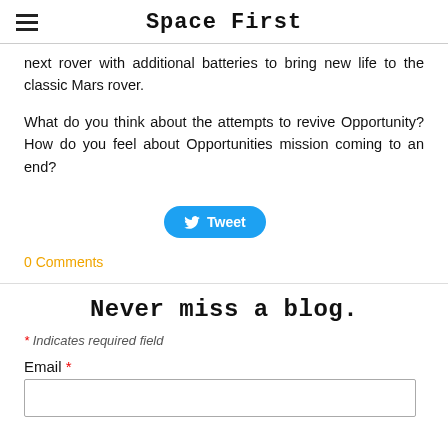Space First
next rover with additional batteries to bring new life to the classic Mars rover.
What do you think about the attempts to revive Opportunity? How do you feel about Opportunities mission coming to an end?
[Figure (other): Tweet button with Twitter bird icon]
0 Comments
Never miss a blog.
* Indicates required field
Email *
[Figure (other): Email input text field]